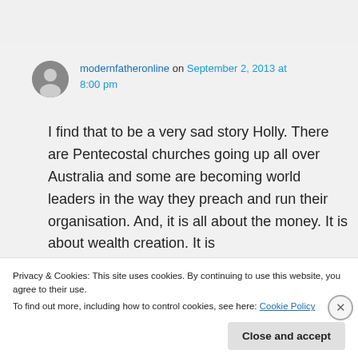modernfatheronline on September 2, 2013 at 8:00 pm
I find that to be a very sad story Holly. There are Pentecostal churches going up all over Australia and some are becoming world leaders in the way they preach and run their organisation. And, it is all about the money. It is about wealth creation. It is
Privacy & Cookies: This site uses cookies. By continuing to use this website, you agree to their use.
To find out more, including how to control cookies, see here: Cookie Policy
Close and accept